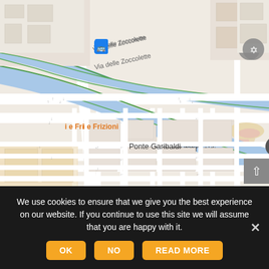[Figure (map): Google Maps screenshot showing area around Ponte Garibaldi and Ponte Fabricio in Rome, Italy. Visible landmarks include Tempio Maggiore di Roma, Isola Tiberina, River Tiber, Basilica di San Crisogono, Piazza Sidney Sonnino, Trattoria Da Enzo al 29. Multiple bus stop icons visible. Via delle Zoccolette street labeled.]
We use cookies to ensure that we give you the best experience on our website. If you continue to use this site we will assume that you are happy with it.